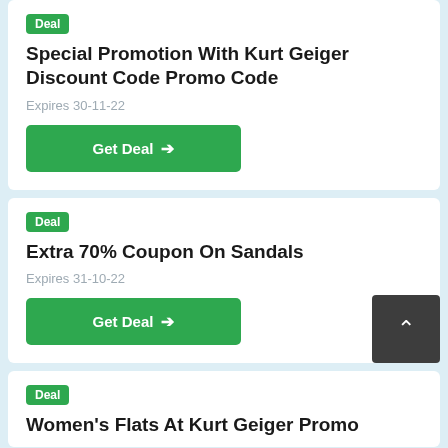Deal
Special Promotion With Kurt Geiger Discount Code Promo Code
Expires 30-11-22
Get Deal →
Deal
Extra 70% Coupon On Sandals
Expires 31-10-22
Get Deal →
Deal
Women's Flats At Kurt Geiger Promo